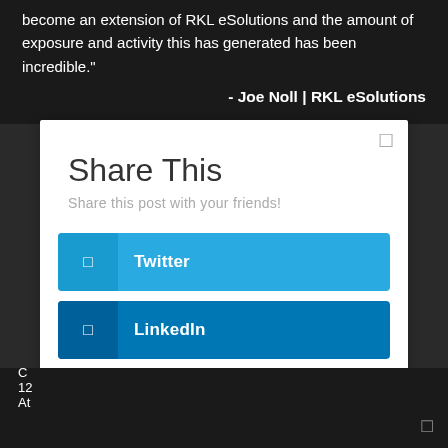become an extension of RKL eSolutions and the amount of exposure and activity this has generated has been incredible."
- Joe Noll | RKL eSolutions
Share This
Share this post with your friends!
Twitter
LinkedIn
Facebook
Google+